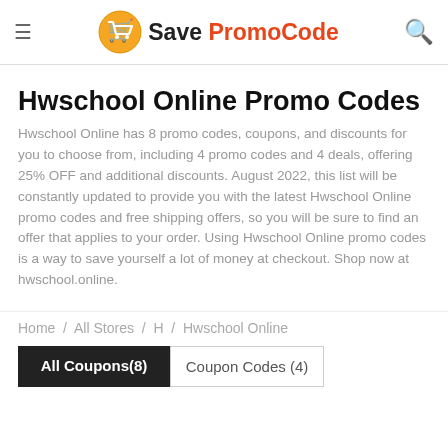Save PromoCode
Hwschool Online Promo Codes
Hwschool Online has 8 promo codes, coupons, and discounts for you to choose from, including 4 promo codes and 4 deals, offering 25% OFF and additional discounts. August 2022, this list will be constantly updated to provide you with the latest Hwschool Online promo codes and free shipping offers, so you will be sure to find an offer that applies to your order. Using Hwschool Online promo codes is a way to save yourself a lot of money at checkout. Shop now at hwschool.online.
Home / All Stores / H / Hwschool Online
All Coupons(8)  Coupon Codes (4)